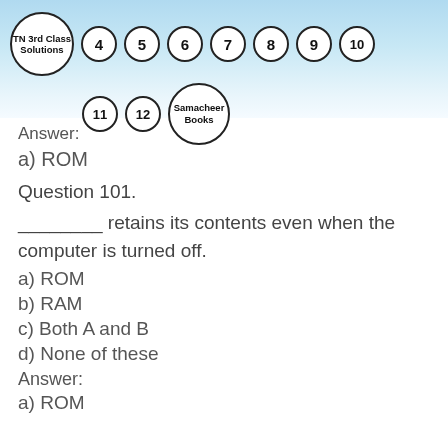[Figure (other): Header banner with TN 3rd Class Solutions logo and numbered circles 4-12 plus Samacheer Books]
Answer:
a) ROM
Question 101.
________ retains its contents even when the computer is turned off.
a) ROM
b) RAM
c) Both A and B
d) None of these
Answer:
a) ROM